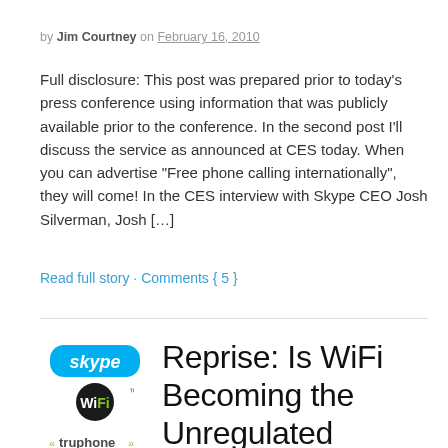by Jim Courtney on February 16, 2010
Full disclosure: This post was prepared prior to today's press conference using information that was publicly available prior to the conference. In the second post I'll discuss the service as announced at CES today. When you can advertise “Free phone calling internationally”, they will come! In the CES interview with Skype CEO Josh Silverman, Josh […]
Read full story · Comments { 5 }
[Figure (logo): Skype, WiFi, and Truphone logos stacked vertically]
Reprise: Is WiFi Becoming the Unregulated Stealth Carrier of the Future?